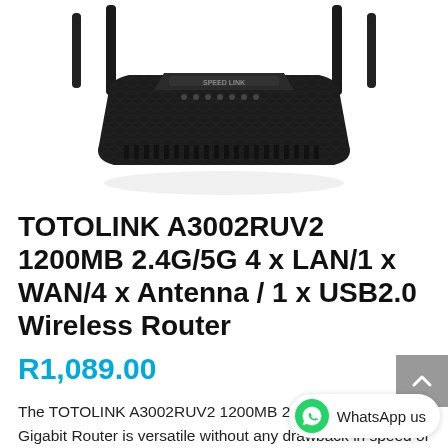[Figure (photo): Black TOTOLINK A3002RUV2 wireless router with four antennas and a dark textured body, viewed from above-front angle]
TOTOLINK A3002RUV2 1200MB 2.4G/5G 4 x LAN/1 x WAN/4 x Antenna / 1 x USB2.0 Wireless Router
R1,089.00
The TOTOLINK A3002RUV2 1200MB 2.4G | 5G Dual Band Gigabit Router is versatile without any drawback in speed or features. This router offers dual band speeds of up to 5GHz speeds of up to 867Mbps and 2.4GHz